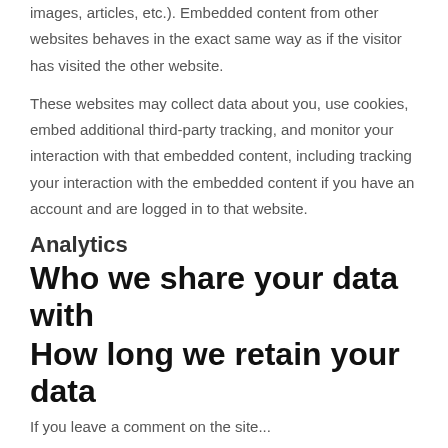images, articles, etc.). Embedded content from other websites behaves in the exact same way as if the visitor has visited the other website.
These websites may collect data about you, use cookies, embed additional third-party tracking, and monitor your interaction with that embedded content, including tracking your interaction with the embedded content if you have an account and are logged in to that website.
Analytics
Who we share your data with
How long we retain your data
If you leave a comment on the ...